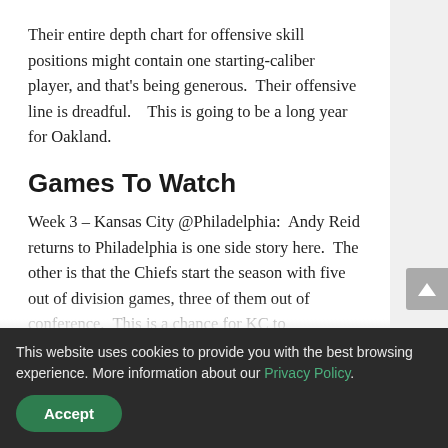Their entire depth chart for offensive skill positions might contain one starting-caliber player, and that's being generous.  Their offensive line is dreadful.    This is going to be a long year for Oakland.
Games To Watch
Week 3 – Kansas City @Philadelphia:  Andy Reid returns to Philadelphia is one side story here.  The other is that the Chiefs start the season with five out of division games, three of them out of conference.  This is a chance for KC to
This website uses cookies to provide you with the best browsing experience. More information about our Privacy Policy.